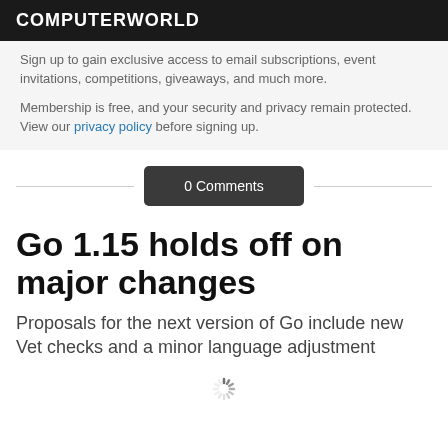COMPUTERWORLD
Sign up to gain exclusive access to email subscriptions, event invitations, competitions, giveaways, and much more.
Membership is free, and your security and privacy remain protected. View our privacy policy before signing up.
0 Comments
Go 1.15 holds off on major changes
Proposals for the next version of Go include new Vet checks and a minor language adjustment